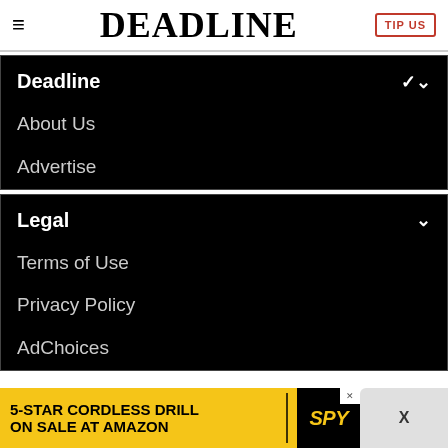DEADLINE | TIP US
Deadline
About Us
Advertise
Legal
Terms of Use
Privacy Policy
AdChoices
[Figure (other): Advertisement banner: 5-STAR CORDLESS DRILL ON SALE AT AMAZON with SPY logo]